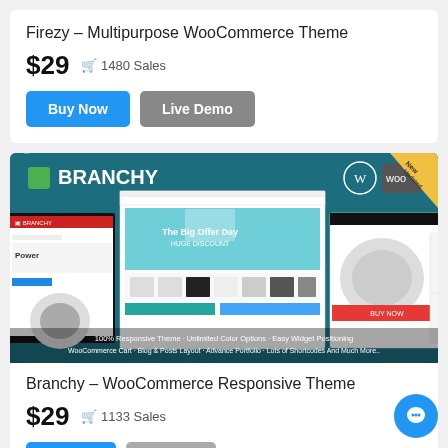Firezy – Multipurpose WooCommerce Theme
$29  1480 Sales
Buy Now  Live Demo
[Figure (screenshot): Branchy WooCommerce Responsive Theme banner showing multiple ecommerce website layouts on a teal background with WordPress and WooCommerce logos, 'New Updated' badge, and text: 100% Responsive Theme - Unlimited Color Options - Easy Widget Positioning - WooCommerce Cart - Blog & Posts Layout - Advance Portfolio - Lots of Shortcodes And Much More..]
Branchy – WooCommerce Responsive Theme
$29  1133 Sales